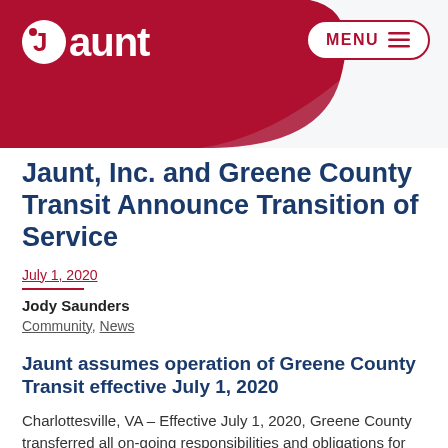[Figure (logo): Jaunt logo with red swoosh background and white text, plus MENU button top right]
Jaunt, Inc. and Greene County Transit Announce Transition of Service
July 1, 2020
Jody Saunders
Community, News
Jaunt assumes operation of Greene County Transit effective July 1, 2020
Charlottesville, VA – Effective July 1, 2020, Greene County transferred all on-going responsibilities and obligations for